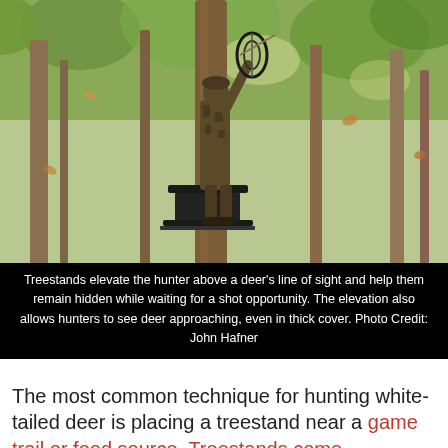[Figure (photo): A hunter in camouflage clothing stands on a treestand attached to a tree trunk in a forest, holding a compound bow raised upward. The forest has tall trees with autumn-colored and green foliage, with light filtering through the canopy.]
Treestands elevate the hunter above a deer's line of sight and help them remain hidden while waiting for a shot opportunity. The elevation also allows hunters to see deer approaching, even in thick cover. Photo Credit: John Hafner
The most common technique for hunting white-tailed deer is placing a treestand near a game trail or food source. Treestands come